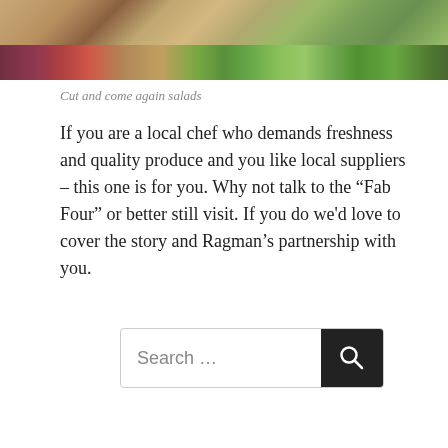[Figure (photo): Overhead view of a garden bed with rows of cut-and-come-again salad plants — red/purple lettuce varieties on the left and green lettuces on the right, growing in brown soil.]
Cut and come again salads
If you are a local chef who demands freshness and quality produce and you like local suppliers – this one is for you. Why not talk to the “Fab Four” or better still visit. If you do we'd love to cover the story and Ragman’s partnership with you.